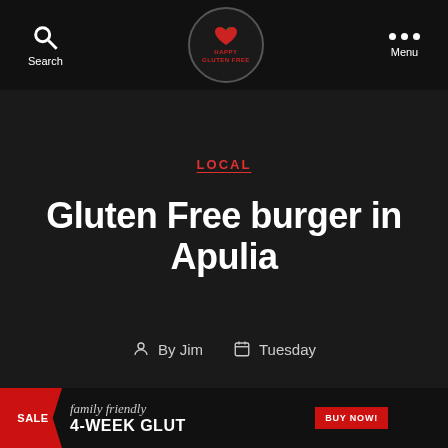Search | Happy Gluten Free | Menu
LOCAL
Gluten Free burger in Apulia
By Jim  Tuesday
[Figure (screenshot): Advertisement banner: SALE | family friendly | 4-WEEK GLUT | BUY NOW!]